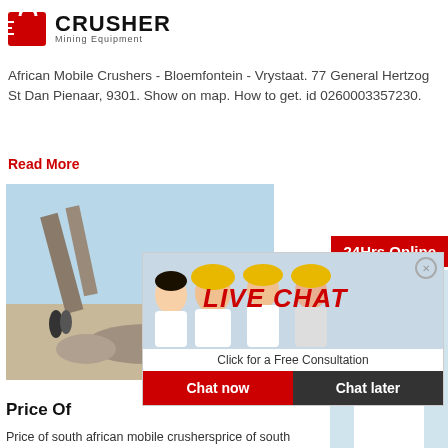[Figure (logo): Crusher Mining Equipment logo with red shopping bag icon and bold CRUSHER text]
African Mobile Crushers - Bloemfontein - Vrystaat. 77 General Hertzog St Dan Pienaar, 9301. Show on map. How to get. id 0260003357230.
Read More
[Figure (photo): Mining equipment/crusher facility with conveyor belts outdoors]
[Figure (photo): Live chat popup showing workers in hard hats and consultation lady, with LIVE CHAT heading, Chat now and Chat later buttons]
[Figure (infographic): 24Hrs Online label in red with customer service representative with headset]
Price Of
Price of south african mobile crushersprice of south african portable crushersmobile crushers south africa mobile crushers south africa were here to help easy way answers you need 0086
Need questions & suggestion?
Chat Now
Enquiry
limingjlmofen@sina.com
Read More
[Figure (photo): Mining/crushing equipment, second photo]